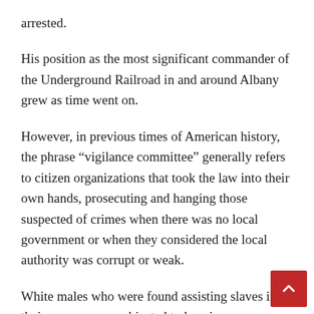arrested.
His position as the most significant commander of the Underground Railroad in and around Albany grew as time went on.
However, in previous times of American history, the phrase “vigilance committee” generally refers to citizen organizations that took the law into their own hands, prosecuting and hanging those suspected of crimes when there was no local government or when they considered the local authority was corrupt or weak.
White males who were found assisting slaves in their escape were subjected to heavier punishments than white women, but both